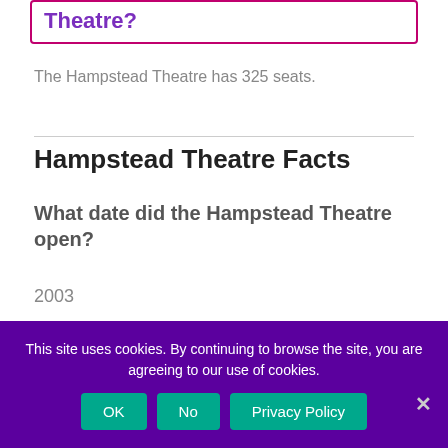Theatre?
The Hampstead Theatre has 325 seats.
Hampstead Theatre Facts
What date did the Hampstead Theatre open?
2003
Who designed the Hampstead Theatre?
This site uses cookies. By continuing to browse the site, you are agreeing to our use of cookies.